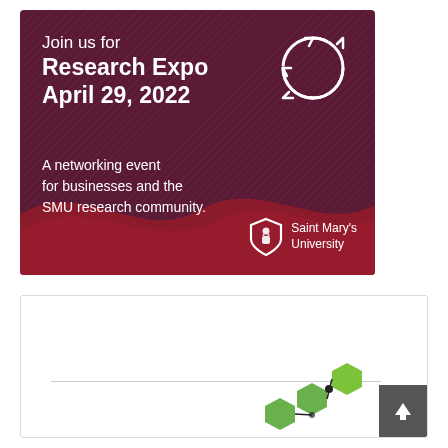[Figure (illustration): Promotional banner for Research Expo April 29, 2022 at Saint Mary's University. Dark maroon/purple background with a red wave shape, circular recycling-style arrows icon top right, and SMU shield logo bottom right. White text reads: 'Join us for Research Expo April 29, 2022. A networking event for businesses and the SMU research community.']
Recent posts
[Figure (illustration): Partial view of green hexagon shapes with connecting lines/nodes, suggesting a network or molecular diagram. Bottom right corner of the recent posts box.]